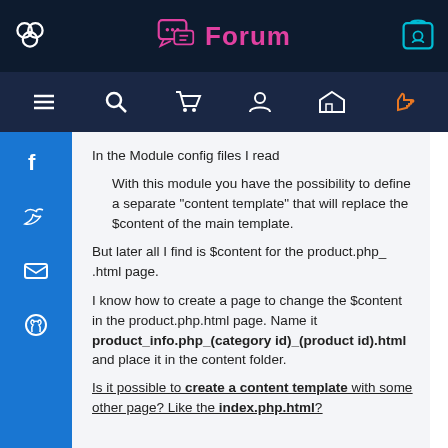Forum
In the Module config files I read
With this module you have the possibility to define a separate "content template" that will replace the $content of the main template.
But later all I find is $content for the product.php_ .html page.
I know how to create a page to change the $content in the product.php.html page. Name it product_info.php_(category id)_(product id).html and place it in the content folder.
Is it possible to create a content template with some other page? Like the index.php.html?